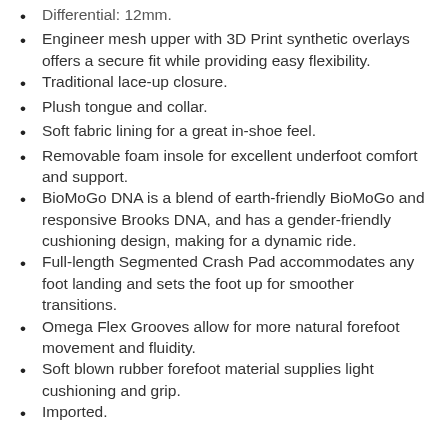Differential: 12mm.
Engineer mesh upper with 3D Print synthetic overlays offers a secure fit while providing easy flexibility.
Traditional lace-up closure.
Plush tongue and collar.
Soft fabric lining for a great in-shoe feel.
Removable foam insole for excellent underfoot comfort and support.
BioMoGo DNA is a blend of earth-friendly BioMoGo and responsive Brooks DNA, and has a gender-friendly cushioning design, making for a dynamic ride.
Full-length Segmented Crash Pad accommodates any foot landing and sets the foot up for smoother transitions.
Omega Flex Grooves allow for more natural forefoot movement and fluidity.
Soft blown rubber forefoot material supplies light cushioning and grip.
Imported.